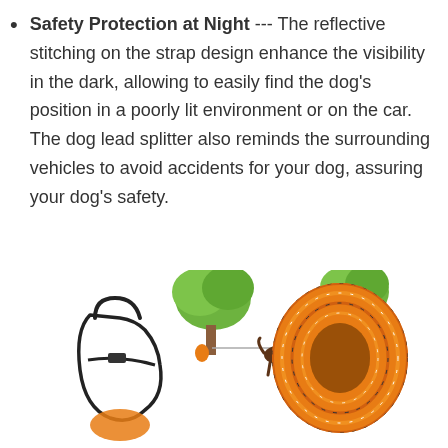Safety Protection at Night --- The reflective stitching on the strap design enhance the visibility in the dark, allowing to easily find the dog's position in a poorly lit environment or on the car. The dog lead splitter also reminds the surrounding vehicles to avoid accidents for your dog, assuring your dog's safety.
[Figure (illustration): Product illustration showing a black dog harness/leash on the left, a dog tied between two trees via a rope in the middle, and a coiled orange rope on the right.]